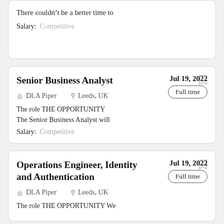There couldn't be a better time to
Salary: Competitive
Senior Business Analyst
DLA Piper  Leeds, UK  Jul 19, 2022  Full time
The role THE OPPORTUNITY The Senior Business Analyst will
Salary: Competitive
Operations Engineer, Identity and Authentication
DLA Piper  Leeds, UK  Jul 19, 2022  Full time
The role THE OPPORTUNITY We